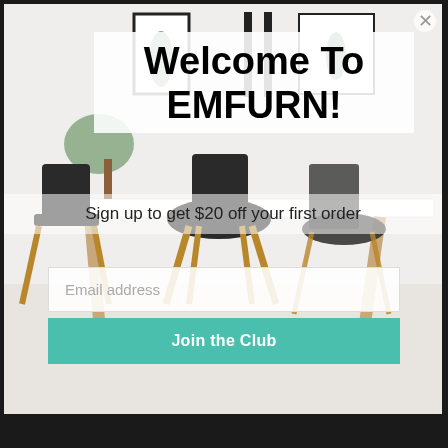[Figure (photo): Modern dining room with white table, black chairs with wooden legs, white walls, framed botanical prints in background]
Welcome To EMFURN!
Sign up to get $20 off your first order
Email address
Join the Club